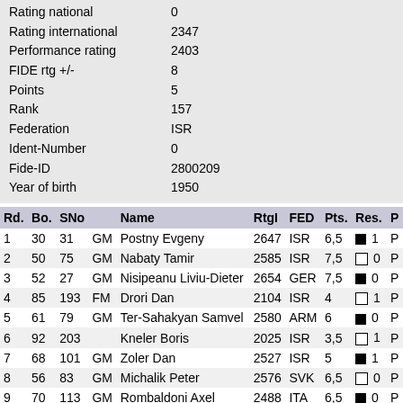| Rating national | 0 |
| Rating international | 2347 |
| Performance rating | 2403 |
| FIDE rtg +/- | 8 |
| Points | 5 |
| Rank | 157 |
| Federation | ISR |
| Ident-Number | 0 |
| Fide-ID | 2800209 |
| Year of birth | 1950 |
| Rd. | Bo. | SNo |  | Name | RtgI | FED | Pts. | Res. | P |
| --- | --- | --- | --- | --- | --- | --- | --- | --- | --- |
| 1 | 30 | 31 | GM | Postny Evgeny | 2647 | ISR | 6,5 | ■ 1 | P |
| 2 | 50 | 75 | GM | Nabaty Tamir | 2585 | ISR | 7,5 | □ 0 | P |
| 3 | 52 | 27 | GM | Nisipeanu Liviu-Dieter | 2654 | GER | 7,5 | ■ 0 | P |
| 4 | 85 | 193 | FM | Drori Dan | 2104 | ISR | 4 | □ 1 | P |
| 5 | 61 | 79 | GM | Ter-Sahakyan Samvel | 2580 | ARM | 6 | ■ 0 | P |
| 6 | 92 | 203 |  | Kneler Boris | 2025 | ISR | 3,5 | □ 1 | P |
| 7 | 68 | 101 | GM | Zoler Dan | 2527 | ISR | 5 | ■ 1 | P |
| 8 | 56 | 83 | GM | Michalik Peter | 2576 | SVK | 6,5 | □ 0 | P |
| 9 | 70 | 113 | GM | Rombaldoni Axel | 2488 | ITA | 6,5 | ■ 0 | P |